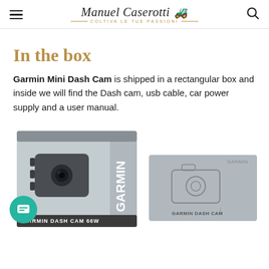Manuel Caserotti — COLTIVA LE TUE PASSIONI
In the box
Garmin Mini Dash Cam is shipped in a rectangular box and inside we will find the Dash cam, usb cable, car power supply and a user manual.
[Figure (photo): Photo of Garmin Dash Cam 66W product box (grey box with white GARMIN text on side, showing dash cam image on face) and a Garmin Dash Cam manual/card to the right.]